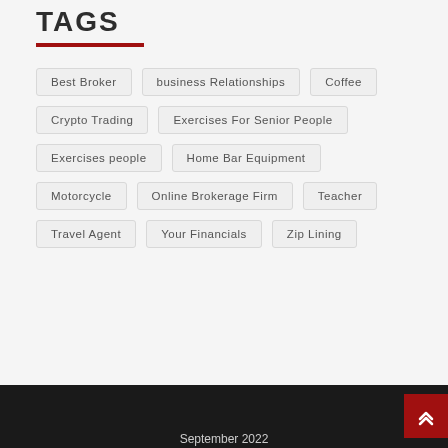TAGS
Best Broker
business Relationships
Coffee
Crypto Trading
Exercises For Senior People
Exercises people
Home Bar Equipment
Motorcycle
Online Brokerage Firm
Teacher
Travel Agent
Your Financials
Zip Lining
September 2022